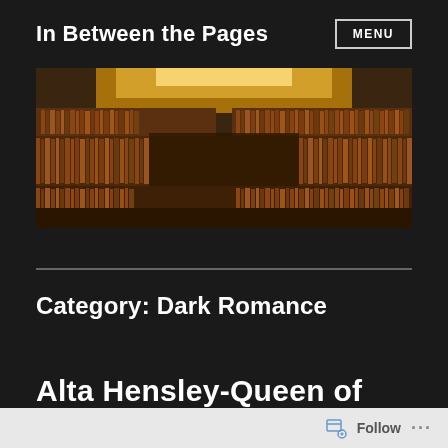In Between the Pages
MENU
[Figure (photo): Panoramic photograph of a large circular library with wooden bookshelves filled with books, warm amber lighting from above, multiple levels of shelves curving around the room]
Category: Dark Romance
Alta Hensley-Queen of
Follow ...